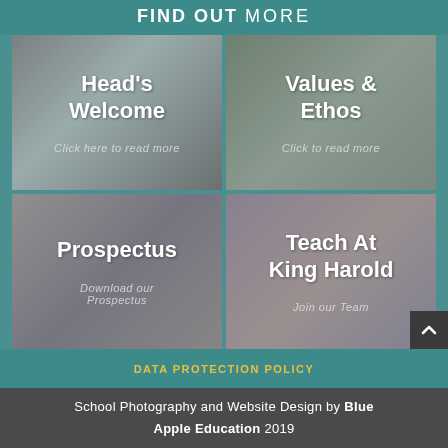FIND OUT MORE
[Figure (photo): Four photo tiles in a 2x2 grid showing school students. Top-left: Head's Welcome - Click here to read more. Top-right: Values & Ethos - Click to read more. Bottom-left: Prospectus - Download our Prospectus. Bottom-right: Teach At King Harold - Join our Team.]
DATA PROTECTION POLICY
School Photography and Website Design by Blue Apple Education 2019